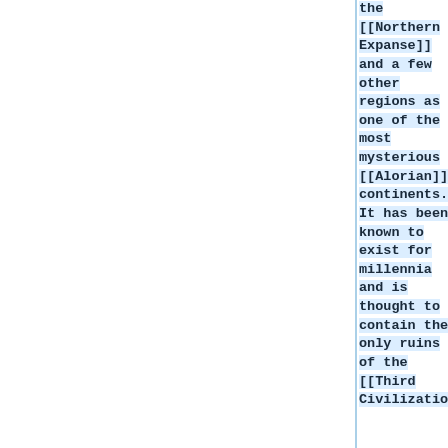the [[Northern Expanse]] and a few other regions as one of the most mysterious [[Alorian]] continents. It has been known to exist for millennia and is thought to contain the only ruins of the [[Third Civilization